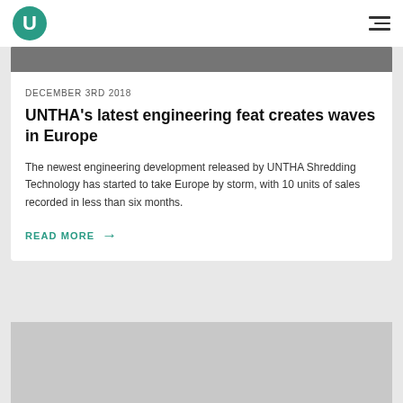U (logo) | navigation menu
[Figure (photo): Partial top image of industrial machinery, cropped at top of view]
DECEMBER 3RD 2018
UNTHA's latest engineering feat creates waves in Europe
The newest engineering development released by UNTHA Shredding Technology has started to take Europe by storm, with 10 units of sales recorded in less than six months.
READ MORE →
[Figure (photo): Bottom partial image placeholder, gray, partially visible]